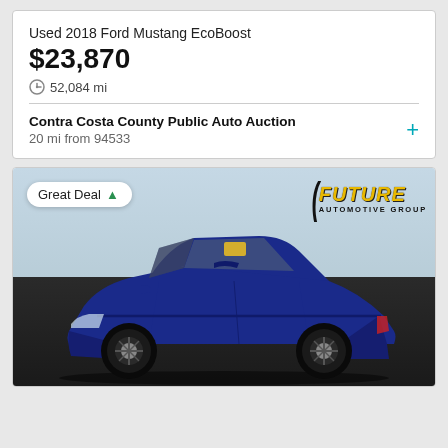Used 2018 Ford Mustang EcoBoost
$23,870
52,084 mi
Contra Costa County Public Auto Auction
20 mi from 94533
[Figure (photo): Blue Dodge Challenger muscle car photographed from the front-left angle in a dealership lot, with Future Automotive Group logo and Great Deal badge overlay]